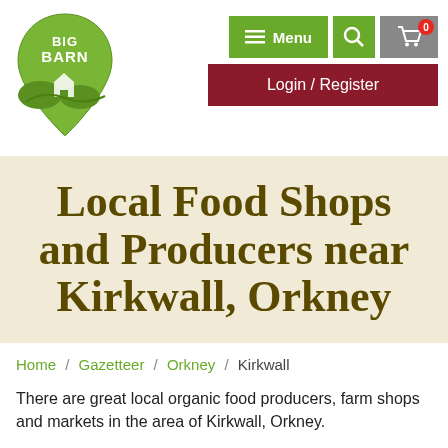[Figure (logo): Big Barn logo — green teardrop/map-pin shape with BIG BARN text and a farm illustration inside]
Menu | Search | Cart (0) | Login / Register
Local Food Shops and Producers near Kirkwall, Orkney
Home / Gazetteer / Orkney / Kirkwall
There are great local organic food producers, farm shops and markets in the area of Kirkwall, Orkney.